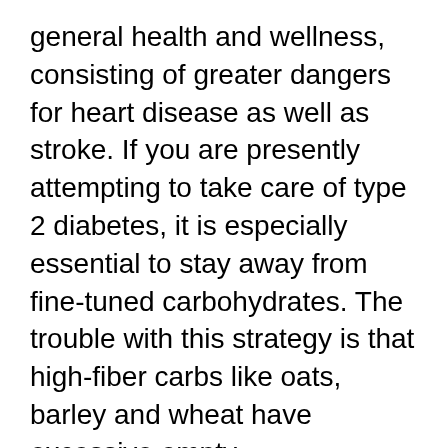general health and wellness, consisting of greater dangers for heart disease as well as stroke. If you are presently attempting to take care of type 2 diabetes, it is especially essential to stay away from fine-tuned carbohydrates. The trouble with this strategy is that high-fiber carbs like oats, barley and wheat have excessive empty carbohydrates in them for your body to utilize as fuel. This, subsequently, leads to bloating, diarrhea as well as weight gain.
So, if you are serious about getting into shape as well as staying clear of excessive weight, it's time to change your old, dull, average diet regimen plans with one that will certainly help you drop weight as well as enhance your overall health at the same time.